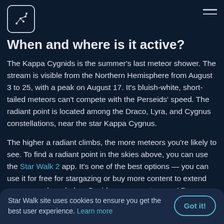[Figure (logo): Star constellation logo in a rounded square border]
When and where is it active?
The Kappa Cygnids is the summer's last meteor shower. The stream is visible from the Northern Hemisphere from August 3 to 25, with a peak on August 17. It's bluish-white, short-tailed meteors can't compete with the Perseids' speed. The radiant point is located among the Draco, Lyra, and Cygnus constellations, near the star Kappa Cygnus.
The higher a radiant climbs, the more meteors you're likely to see. To find a radiant point in the skies above, you can use the Star Walk 2 app. It's one of the best options — you can use it for free for stargazing or buy more content to extend your space knowledge. Besides, you can turn on AR m...
Star Walk site uses cookies to ensure you get the best user experience. Learn more